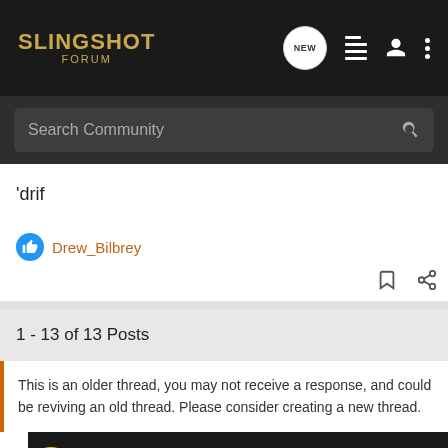SLINGSHOT FORUM — navigation header with NEW, list, user, and menu icons
Search Community
'drif
Drew_Bilbrey
1 - 13 of 13 Posts
This is an older thread, you may not receive a response, and could be reviving an old thread. Please consider creating a new thread.
[Figure (screenshot): Bass Pro Shops advertisement banner: HIGHEST-RATED GEAR with 4.9 star rating and product image]